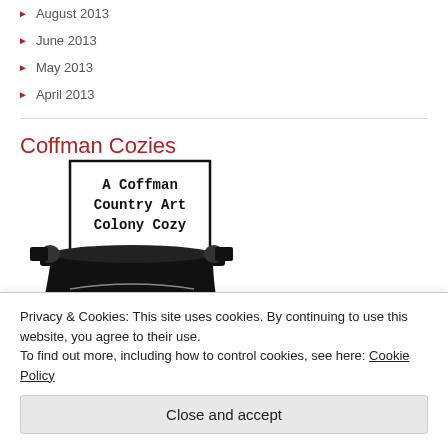August 2013
June 2013
May 2013
April 2013
Coffman Cozies
[Figure (illustration): A Coffman Country Art Colony Cozy - typewriter illustration with paper showing text]
Privacy & Cookies: This site uses cookies. By continuing to use this website, you agree to their use. To find out more, including how to control cookies, see here: Cookie Policy
Close and accept